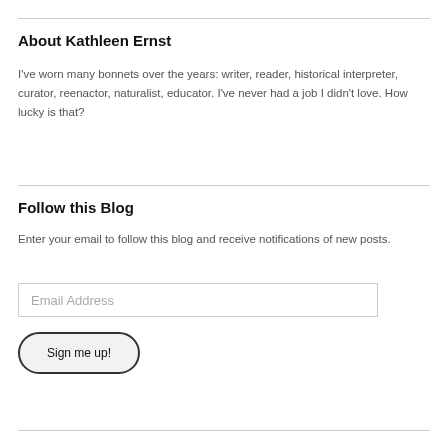About Kathleen Ernst
I've worn many bonnets over the years: writer, reader, historical interpreter, curator, reenactor, naturalist, educator. I've never had a job I didn't love. How lucky is that?
Follow this Blog
Enter your email to follow this blog and receive notifications of new posts.
Email Address
Sign me up!